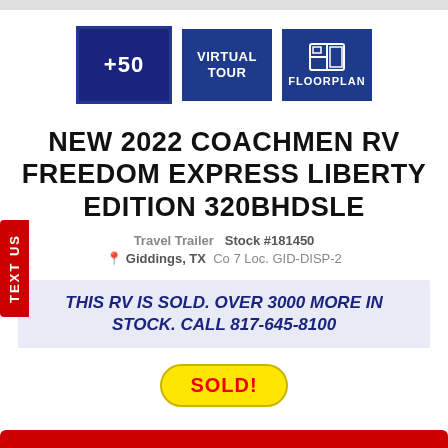[Figure (screenshot): Three blue buttons: +50 photos, Virtual Tour, Floorplan]
NEW 2022 COACHMEN RV FREEDOM EXPRESS LIBERTY EDITION 320BHDSLE
Travel Trailer   Stock #181450
📍 Giddings, TX   Co 7 Loc. GID-DISP-2
THIS RV IS SOLD. OVER 3000 MORE IN STOCK. CALL 817-645-8100
SOLD!
TEXT US